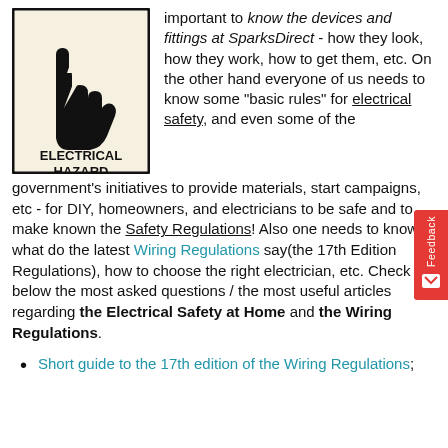[Figure (illustration): Electrical Hazard warning sign: black hand with lightning bolt on cream/beige background with bold text ELECTRICAL HAZARD]
important to know the devices and fittings at SparksDirect - how they look, how they work, how to get them, etc. On the other hand everyone of us needs to know some "basic rules" for electrical safety, and even some of the government's initiatives to provide materials, start campaigns, etc - for DIY, homeowners, and electricians to be safe and to make known the Safety Regulations! Also one needs to know what do the latest Wiring Regulations say(the 17th Edition Regulations), how to choose the right electrician, etc. Check out below the most asked questions / the most useful articles regarding the Electrical Safety at Home and the Wiring Regulations.
Short guide to the 17th edition of the Wiring Regulations;